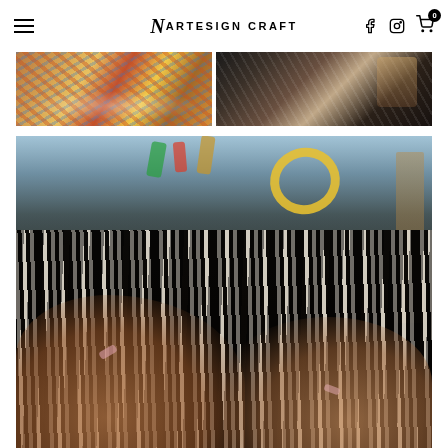Artesign Craft — navigation header with hamburger menu, logo, social icons, and cart
[Figure (photo): Top-left photo: colorful craft items displayed at a market stall]
[Figure (photo): Top-right photo: person wearing patterned clothing holding craft items]
[Figure (photo): Large main photo: close-up of hands holding black and white beaded craft/jewelry items with colorful rings blurred in background]